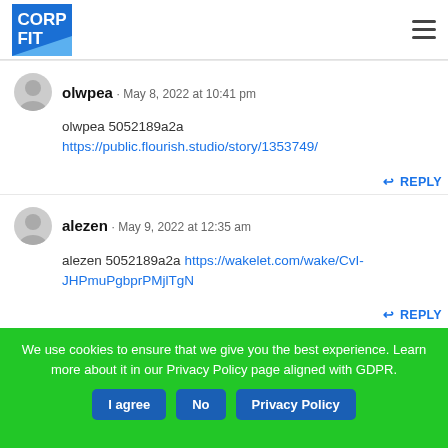CORP FIT
olwpea · May 8, 2022 at 10:41 pm
olwpea 5052189a2a
https://public.flourish.studio/story/1353749/
REPLY
alezen · May 9, 2022 at 12:35 am
alezen 5052189a2a https://wakelet.com/wake/CvI-JHPmuPgbprPMjlTgN
REPLY
We use cookies to ensure that we give you the best experience. Learn more about it in our Privacy Policy page aligned with GDPR.
I agree  No  Privacy Policy